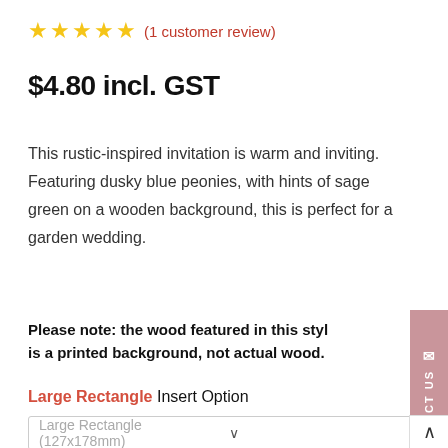★★★★★ (1 customer review)
$4.80 incl. GST
This rustic-inspired invitation is warm and inviting.  Featuring dusky blue peonies, with hints of sage green on a wooden background, this is perfect for a garden wedding.
Please note: the wood featured in this style is a printed background, not actual wood.
Large Rectangle Insert Option
Large Rectangle (127x178mm)